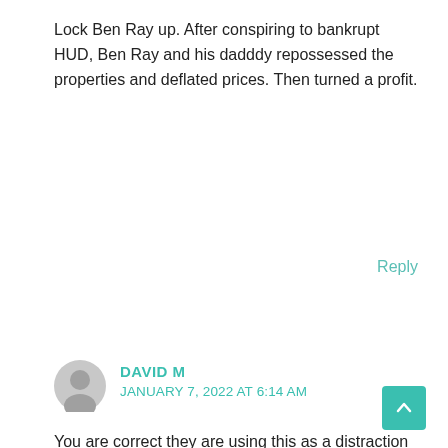Lock Ben Ray up. After conspiring to bankrupt HUD, Ben Ray and his dadddy repossessed the properties and deflated prices. Then turned a profit.
Reply
DAVID M
JANUARY 7, 2022 AT 6:14 AM
You are correct they are using this as a distraction because the buffoon is the worst president we ever have had and everything that he touches turns to lead